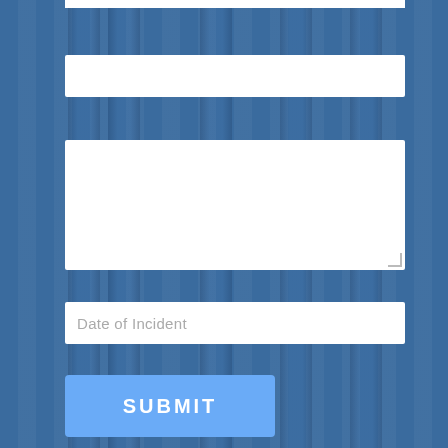[Figure (screenshot): Web form on a dark blue background with courthouse/law column imagery. Contains three input fields: one blank text field, one large textarea, one text field with placeholder 'Date of Incident', and a blue SUBMIT button.]
Date of Incident
SUBMIT